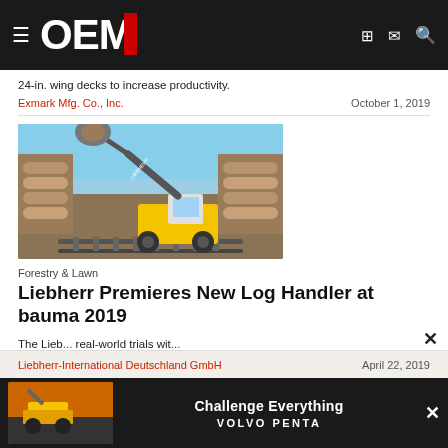OEM OFF-HIGHWAY
24-in. wing decks to increase productivity.
Exmark Mfg. Co., Inc.    October 1, 2019
[Figure (photo): Liebherr log handler machine grasping logs at a timber yard, with stacks of logs on either side and a blue sky background.]
Forestry & Lawn
Liebherr Premieres New Log Handler at bauma 2019
The Liebherr ... real-world trials with...
Liebherr-International Deutschland GmbH    April 22, 2019
[Figure (photo): Volvo Penta advertisement: Challenge Everything, showing off-highway equipment]